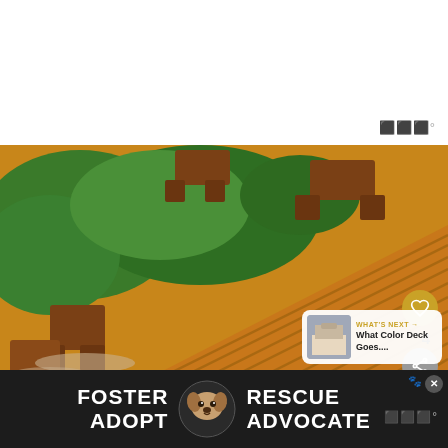[Figure (photo): White blank top area of a webpage/app]
[Figure (photo): Outdoor wooden deck with diagonal planks, wooden bench planters on the sides, green shrubs in background. Golden/amber stained wood. Heart favorite button and share button visible. 'What's Next' overlay showing next article about deck colors.]
WHAT'S NEXT → What Color Deck Goes....
[Figure (photo): Advertisement banner: FOSTER RESCUE ADOPT ADVOCATE with a dog image on dark background]